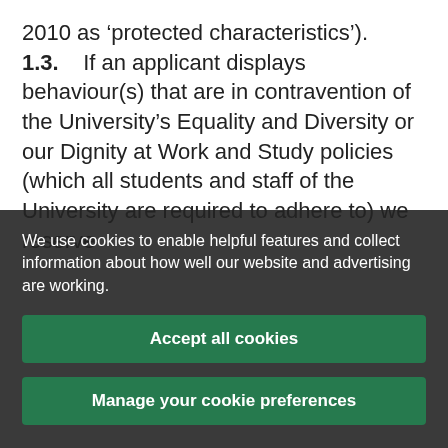2010 as 'protected characteristics').
1.3.    If an applicant displays behaviour(s) that are in contravention of the University's Equality and Diversity or our Dignity at Work and Study policies (which all students and staff of the University are required to adhere to) we reserve
We use cookies to enable helpful features and collect information about how well our website and advertising are working.
Accept all cookies
Manage your cookie preferences